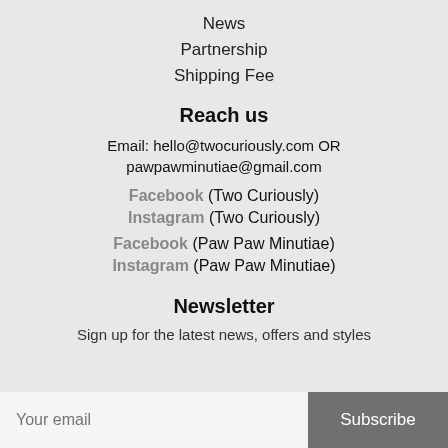News
Partnership
Shipping Fee
Reach us
Email: hello@twocuriously.com OR pawpawminutiae@gmail.com
Facebook (Two Curiously)
Instagram (Two Curiously)
Facebook (Paw Paw Minutiae)
Instagram (Paw Paw Minutiae)
Newsletter
Sign up for the latest news, offers and styles